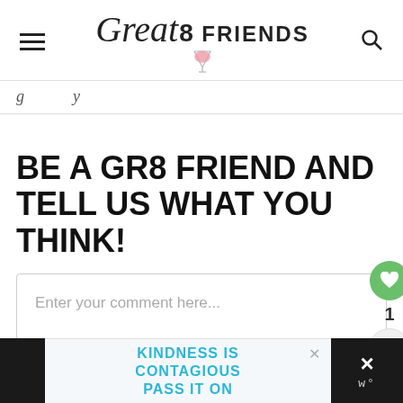Great 8 FRIENDS
g...y...
BE A GR8 FRIEND AND TELL US WHAT YOU THINK!
Enter your comment here...
KINDNESS IS CONTAGIOUS PASS IT ON